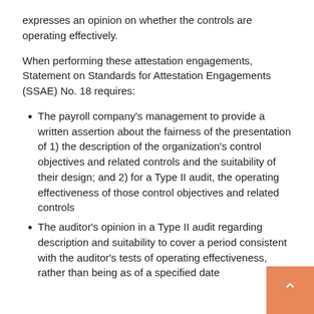expresses an opinion on whether the controls are operating effectively.
When performing these attestation engagements, Statement on Standards for Attestation Engagements (SSAE) No. 18 requires:
The payroll company's management to provide a written assertion about the fairness of the presentation of 1) the description of the organization's control objectives and related controls and the suitability of their design; and 2) for a Type II audit, the operating effectiveness of those control objectives and related controls
The auditor's opinion in a Type II audit regarding description and suitability to cover a period consistent with the auditor's tests of operating effectiveness, rather than being as of a specified date